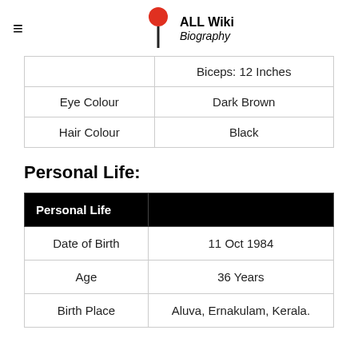ALL Wiki Biography
|  |  |
| --- | --- |
|  | Biceps: 12 Inches |
| Eye Colour | Dark Brown |
| Hair Colour | Black |
Personal Life:
| Personal Life |  |
| --- | --- |
| Date of Birth | 11 Oct 1984 |
| Age | 36 Years |
| Birth Place | Aluva, Ernakulam, Kerala. |